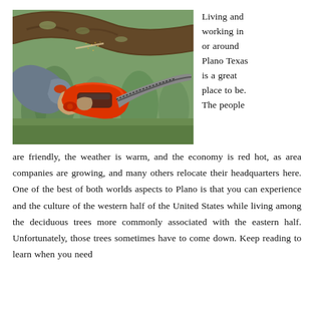[Figure (photo): A person using a red chainsaw to cut a large tree branch. The background shows a green orchard or grove with trees and grass.]
Living and working in or around Plano Texas is a great place to be. The people are friendly, the weather is warm, and the economy is red hot, as area companies are growing, and many others relocate their headquarters here. One of the best of both worlds aspects to Plano is that you can experience and the culture of the western half of the United States while living among the deciduous trees more commonly associated with the eastern half. Unfortunately, those trees sometimes have to come down. Keep reading to learn when you need